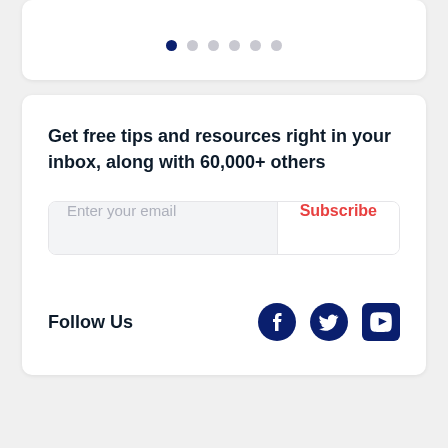[Figure (other): Pagination dots indicator — one dark navy dot followed by five light gray dots]
Get free tips and resources right in your inbox, along with 60,000+ others
[Figure (infographic): Email subscription form with 'Enter your email' placeholder input and 'Subscribe' button in red text]
Follow Us
[Figure (infographic): Social media icons: Facebook, Twitter, YouTube — all in dark navy blue]